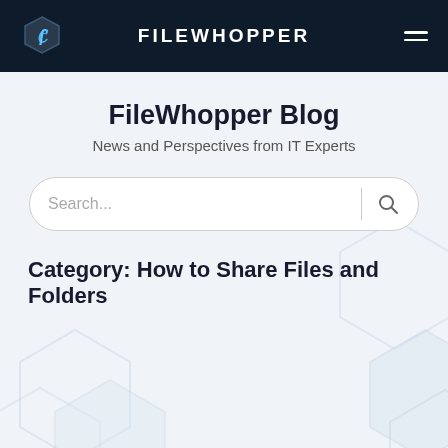FILEWHOPPER
FileWhopper Blog
News and Perspectives from IT Experts
Search...
Category: How to Share Files and Folders